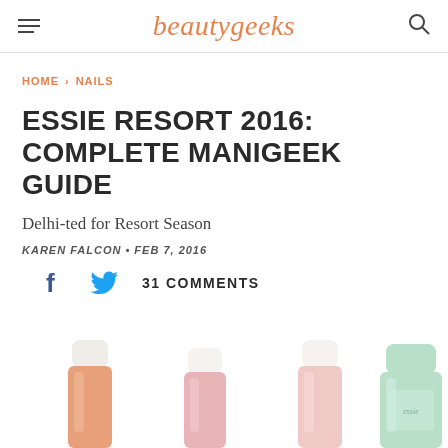beautygeeks
HOME > NAILS
ESSIE RESORT 2016: COMPLETE MANIGEEK GUIDE
Delhi-ted for Resort Season
KAREN FALCON • FEB 7, 2016
31 COMMENTS
[Figure (photo): Four Essie nail polish bottles partially visible at the bottom of the page, including peach, pink, and mint green colors]